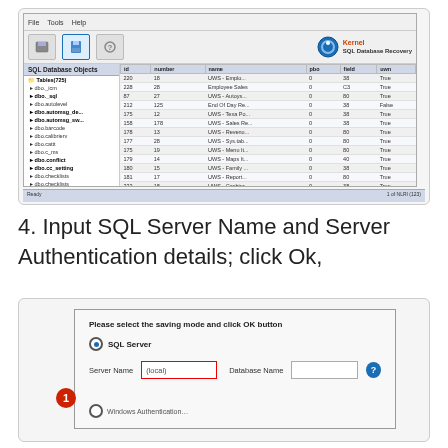[Figure (screenshot): Kernel SQL Database Recovery application window showing SQL Database Objects panel on the left with a tree of table names, and a main data grid on the right showing columns: id, number, name, pbo, field, uwn with rows of UWS data entries. Status bar at bottom shows record navigation.]
4. Input SQL Server Name and Server Authentication details; click Ok,
[Figure (screenshot): Dialog box titled 'Please select the saving mode and click OK button' with SQL Server radio button selected, fields for Server Name showing '(local)' with red border highlight, Database Name field empty, and a help button. A red badge with number 1 highlights the Server Name field area.]